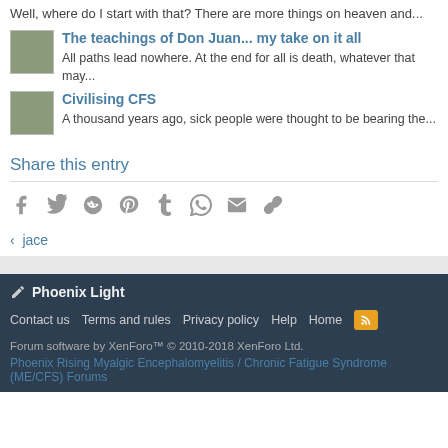Well, where do I start with that? There are more things on heaven and...
The teachings of Don Juan... my take on it all
All paths lead nowhere. At the end for all is death, whatever that may...
Civilising CFS
A thousand years ago, sick people were thought to be bearing the...
Share this entry
[Figure (infographic): Social sharing icons: Facebook, Twitter, Reddit, Pinterest, Tumblr, WhatsApp, Email, Link]
< jace
Phoenix Light
Contact us  Terms and rules  Privacy policy  Help  Home
Forum software by XenForo™ © 2010-2018 XenForo Ltd.
Phoenix Rising Myalgic Encephalomyelitis / Chronic Fatigue Syndrome (ME/CFS) Forums